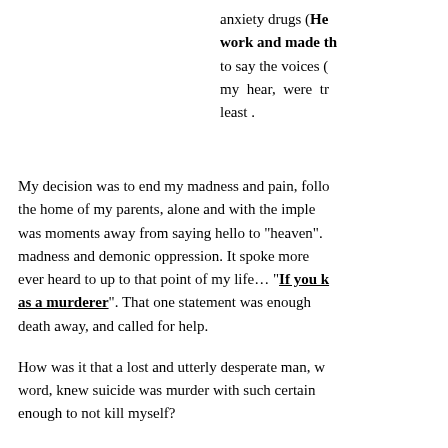anxiety drugs (Her... work and made th... to say the voices (... my hear, were tr... least .
My decision was to end my madness and pain, follo... the home of my parents, alone and with the imple... was moments away from saying hello to "heaven". madness and demonic oppression. It spoke more ever heard to up to that point of my life... "If you k... as a murderer". That one statement was enough ... death away, and called for help.
How was it that a lost and utterly desperate man, w... word, knew suicide was murder with such certain... enough to not kill myself?
I knew because God was present in that moment...